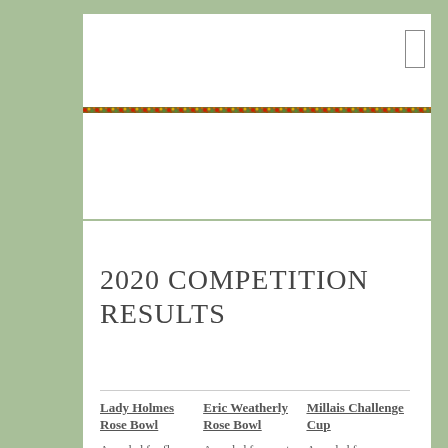[Figure (illustration): Decorative horizontal floral/mosaic banner strip in red, yellow, green, and brown colors]
2020 COMPETITION RESULTS
| Lady Holmes Rose Bowl | Eric Weatherly Rose Bowl | Millais Challenge Cup |
| --- | --- | --- |
| Awarded for flower | Awarded for most points in | Awarded for |